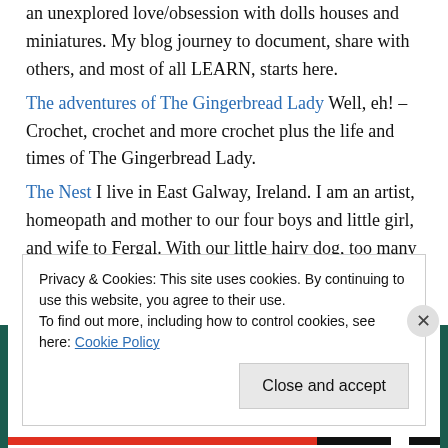an unexplored love/obsession with dolls houses and miniatures. My blog journey to document, share with others, and most of all LEARN, starts here.
The adventures of The Gingerbread Lady Well, eh! – Crochet, crochet and more crochet plus the life and times of The Gingerbread Lady.
The Nest I live in East Galway, Ireland. I am an artist, homeopath and mother to our four boys and little girl, and wife to Fergal. With our little hairy dog, too many cats, hens, cockerel and two little white ducks, we home educate our children.
Privacy & Cookies: This site uses cookies. By continuing to use this website, you agree to their use. To find out more, including how to control cookies, see here: Cookie Policy